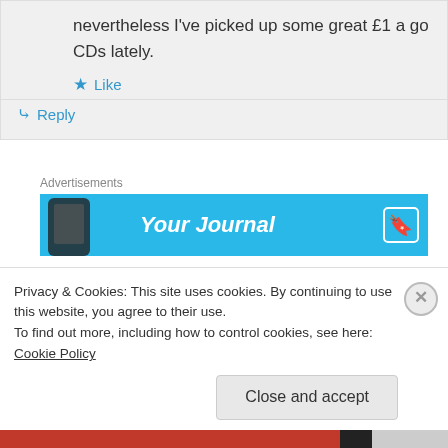nevertheless I've picked up some great £1 a go CDs lately.
★ Like
↪ Reply
Advertisements
[Figure (screenshot): Blue advertisement banner reading 'Your Journal' with a phone image on the left and a bookmark icon on the right]
The Rock 'N' Roll Oatcake on March 29, 2017 at 2:43 pm
Privacy & Cookies: This site uses cookies. By continuing to use this website, you agree to their use.
To find out more, including how to control cookies, see here: Cookie Policy
Close and accept